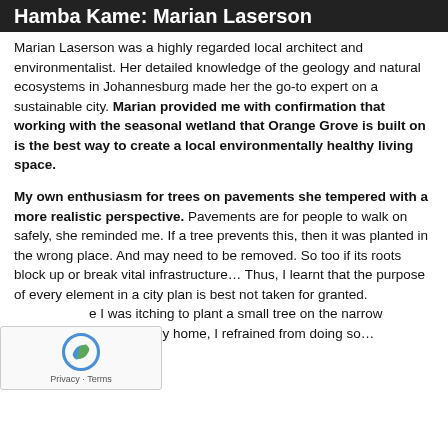Hamba Kame: Marian Laserson
Marian Laserson was a highly regarded local architect and environmentalist. Her detailed knowledge of the geology and natural ecosystems in Johannesburg made her the go-to expert on a sustainable city. Marian provided me with confirmation that working with the seasonal wetland that Orange Grove is built on is the best way to create a local environmentally healthy living space.
My own enthusiasm for trees on pavements she tempered with a more realistic perspective. Pavements are for people to walk on safely, she reminded me. If a tree prevents this, then it was planted in the wrong place. And may need to be removed. So too if its roots block up or break vital infrastructure… Thus, I learnt that the purpose of every element in a city plan is best not taken for granted. While I was itching to plant a small tree on the narrow pavement outside my home, I refrained from doing so…